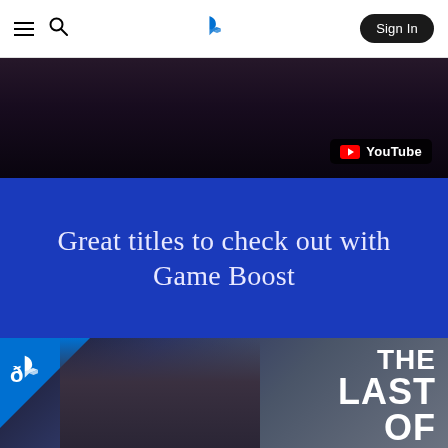PlayStation navigation bar with hamburger menu, search icon, PlayStation logo, and Sign In button
[Figure (screenshot): Video thumbnail showing dark game scene with YouTube badge in bottom right corner]
Great titles to check out with Game Boost
[Figure (screenshot): The Last of Us game cover with PlayStation logo in top left corner and game title text on the right side]